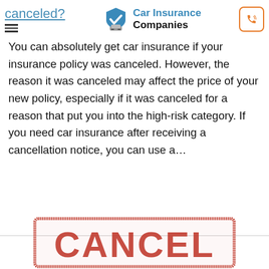canceled? Car Insurance Companies
You can absolutely get car insurance if your insurance policy was canceled. However, the reason it was canceled may affect the price of your new policy, especially if it was canceled for a reason that put you into the high-risk category. If you need car insurance after receiving a cancellation notice, you can use a…
[Figure (illustration): A red rubber stamp impression reading CANCEL in large distressed block letters with a rectangular border]